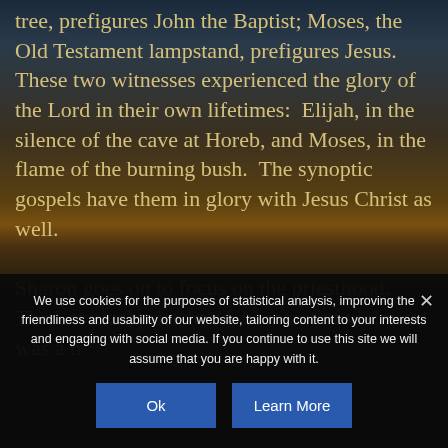tree, prefigures John the Baptist; Moses, the Old Testament lampstand, prefigures Jesus.   These two witnesses experienced the glory of the Lord in their own lifetimes:  Elijah, in the silence of the cave at Horeb, and Moses, in the flame of the burning bush.  The synoptic gospels have them in glory with Jesus Christ as well.

Sharon goes on to focus on the priesthood.  The Levitical priesthood, born out of violence, was a tr...
We use cookies for the purposes of statistical analysis, improving the friendliness and usability of our website, tailoring content to your interests and engaging with social media. If you continue to use this site we will assume that you are happy with it.